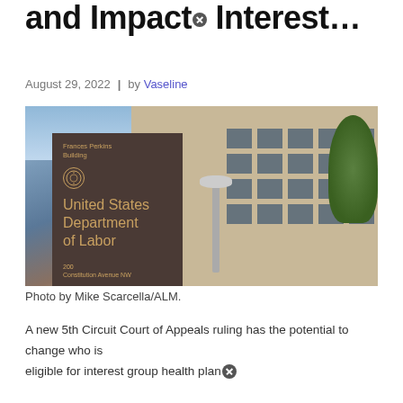and Impacts Interest…
August 29, 2022 | by Vaseline
[Figure (photo): Photograph of the Frances Perkins Building, United States Department of Labor, 200 Constitution Avenue NW, with a dark brown sign in the foreground and the building facade and trees visible behind it.]
Photo by Mike Scarcella/ALM.
A new 5th Circuit Court of Appeals ruling has the potential to change who is eligible for interest group health plan…